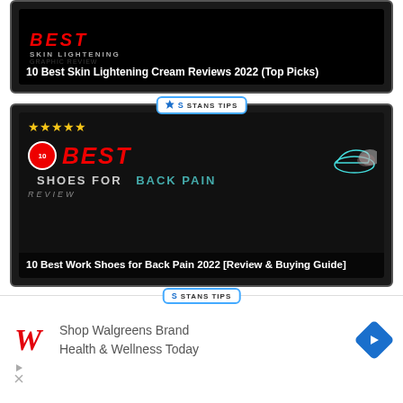[Figure (screenshot): Partial card showing skin lightening cream review thumbnail with dark background and overlay text '10 Best Skin Lightening Cream Reviews 2022 (Top Picks)']
[Figure (screenshot): Card with 'STANS TIPS' badge, 5 gold stars, '10 BEST SHOES FOR BACK PAIN REVIEW' graphic with shoe images, and overlay title '10 Best Work Shoes for Back Pain 2022 [Review & Buying Guide]']
[Figure (screenshot): Partial card at bottom with 'STANS TIPS' badge, 5 gold stars, dark background with partial person icon visible]
[Figure (screenshot): Ad banner: Shop Walgreens Brand Health & Wellness Today with Walgreens logo W and blue arrow icon]